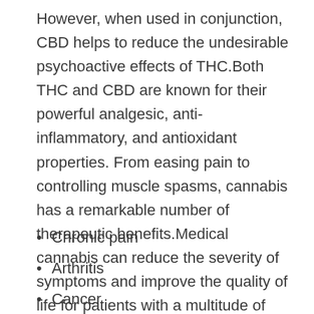However, when used in conjunction, CBD helps to reduce the undesirable psychoactive effects of THC.Both THC and CBD are known for their powerful analgesic, anti-inflammatory, and antioxidant properties. From easing pain to controlling muscle spasms, cannabis has a remarkable number of therapeutic benefits.Medical cannabis can reduce the severity of symptoms and improve the quality of life for patients with a multitude of conditions, including:
Chronic pain
Arthritis
Cancer